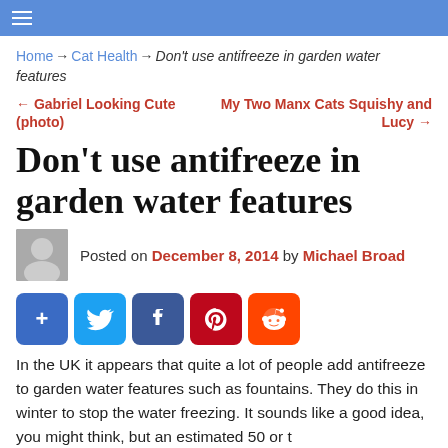≡
Home → Cat Health → Don't use antifreeze in garden water features
← Gabriel Looking Cute (photo)   My Two Manx Cats Squishy and Lucy →
Don't use antifreeze in garden water features
Posted on December 8, 2014 by Michael Broad
[Figure (other): Social share buttons: Share, Twitter, Facebook, Pinterest, Reddit]
In the UK it appears that quite a lot of people add antifreeze to garden water features such as fountains. They do this in winter to stop the water freezing. It sounds like a good idea, you might think, but an estimated 50 or t